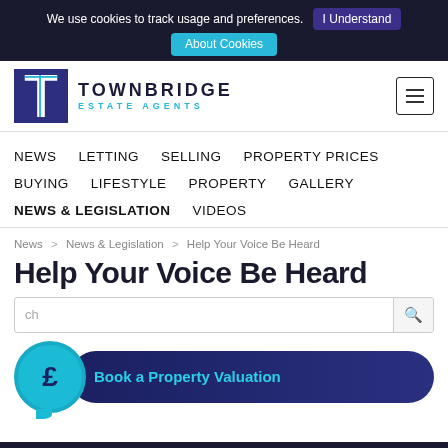We use cookies to track usage and preferences. I Understand About Cookies
[Figure (logo): Townbridge Estate Agents logo with dark blue T icon and company name]
NEWS  LETTING  SELLING  PROPERTY PRICES  BUYING  LIFESTYLE  PROPERTY  GALLERY  NEWS & LEGISLATION  VIDEOS
News > News & Legislation > Help Your Voice Be Heard
Help Your Voice Be Heard
Book a Property Valuation